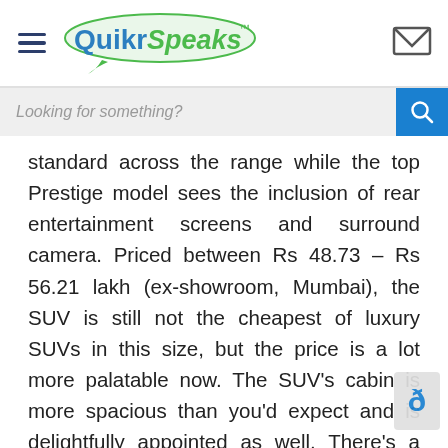QuikrSpeaks
Looking for something?
standard across the range while the top Prestige model sees the inclusion of rear entertainment screens and surround camera. Priced between Rs 48.73 – Rs 56.21 lakh (ex-showroom, Mumbai), the SUV is still not the cheapest of luxury SUVs in this size, but the price is a lot more palatable now. The SUV’s cabin is more spacious than you’d expect and is delightfully appointed as well. There’s a feel of affluence to everything in sight and the seats are comfortable too. If there’s something to complain about, it’s that the